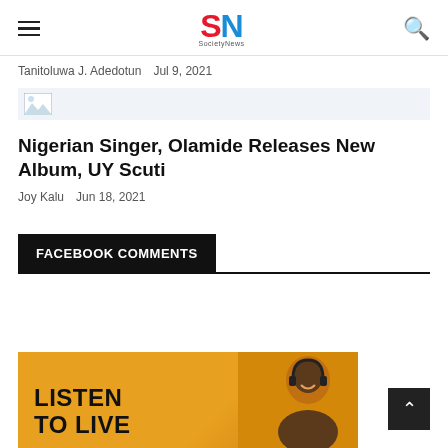SN
Tanitoluwa J. Adedotun  Jul 9, 2021
[Figure (photo): Broken/missing image placeholder with light blue-grey background]
Nigerian Singer, Olamide Releases New Album, UY Scuti
Joy Kalu  Jun 18, 2021
FACEBOOK COMMENTS
[Figure (infographic): Advertisement banner with orange background showing text LISTEN TO LIVE and a woman with headphones]